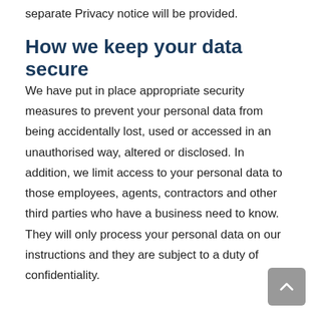separate Privacy notice will be provided.
How we keep your data secure
We have put in place appropriate security measures to prevent your personal data from being accidentally lost, used or accessed in an unauthorised way, altered or disclosed. In addition, we limit access to your personal data to those employees, agents, contractors and other third parties who have a business need to know. They will only process your personal data on our instructions and they are subject to a duty of confidentiality.